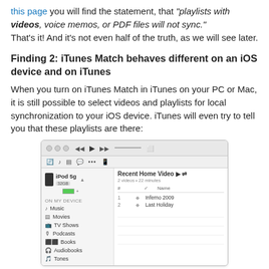this page you will find the statement, that "playlists with videos, voice memos, or PDF files will not sync." That's it! And it's not even half of the truth, as we will see later.
Finding 2: iTunes Match behaves different on an iOS device and on iTunes
When you turn on iTunes Match in iTunes on your PC or Mac, it is still possible to select videos and playlists for local synchronization to your iOS device. iTunes will even try to tell you that these playlists are there:
[Figure (screenshot): iTunes screenshot showing an iPod 5g device with 32GB connected, displaying a 'Recent Home Video' playlist with 2 videos (Inferno 2009 and Last Holiday) in the main content area. The sidebar shows On My Device sections: Music, Movies, TV Shows, Podcasts, Books, Audiobooks, Tones.]